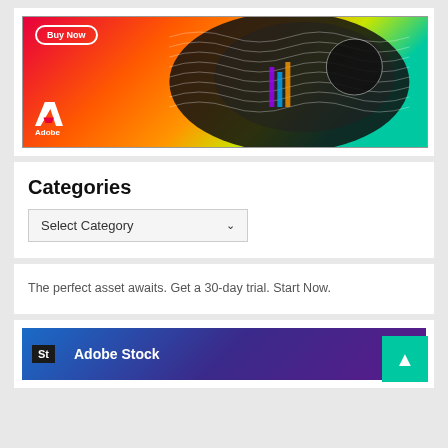[Figure (illustration): Adobe advertisement banner with colorful gradient background (pink/red/orange/green) and black swirl/wave design, Adobe logo (white A) and 'Adobe' text at bottom left, 'Buy Now' button at top left]
Categories
Select Category
The perfect asset awaits. Get a 30-day trial. Start Now.
[Figure (illustration): Adobe Stock advertisement banner with dark blue/purple gradient background, 'St' icon in black box on left, 'Adobe Stock' text in white]